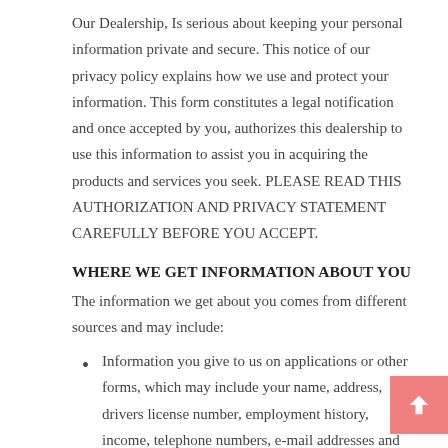Our Dealership, Is serious about keeping your personal information private and secure. This notice of our privacy policy explains how we use and protect your information. This form constitutes a legal notification and once accepted by you, authorizes this dealership to use this information to assist you in acquiring the products and services you seek. PLEASE READ THIS AUTHORIZATION AND PRIVACY STATEMENT CAREFULLY BEFORE YOU ACCEPT.
WHERE WE GET INFORMATION ABOUT YOU
The information we get about you comes from different sources and may include:
Information you give to us on applications or other forms, which may include your name, address, drivers license number, employment history, income, telephone numbers, e-mail addresses and Social Security number.
Representations you make to us, such as your employment history, account balances, payment histories and your relationships with other persons or entities you have listed as